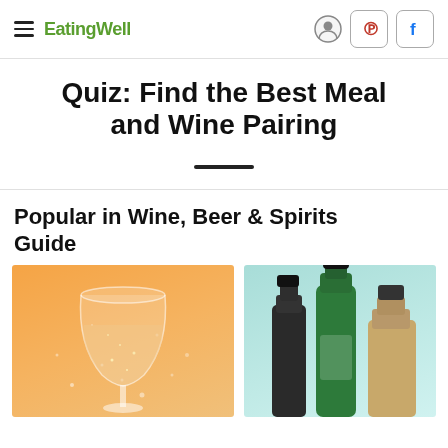EatingWell
Quiz: Find the Best Meal and Wine Pairing
Popular in Wine, Beer & Spirits Guide
[Figure (photo): A champagne/wine glass with bubbles on an orange background]
[Figure (photo): Wine/beer bottles on a light teal/mint background]